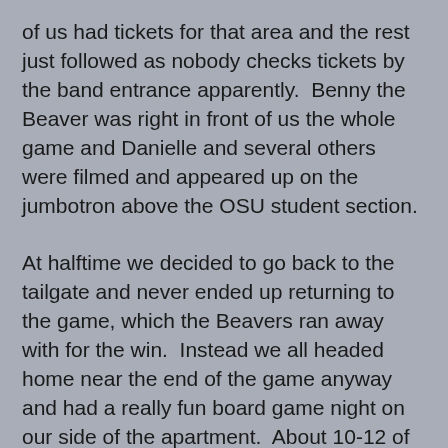of us had tickets for that area and the rest just followed as nobody checks tickets by the band entrance apparently.  Benny the Beaver was right in front of us the whole game and Danielle and several others were filmed and appeared up on the jumbotron above the OSU student section.
At halftime we decided to go back to the tailgate and never ended up returning to the game, which the Beavers ran away with for the win.  Instead we all headed home near the end of the game anyway and had a really fun board game night on our side of the apartment.  About 10-12 of our friends showed up and we played games for the rest of the night (Cranium, Catch Phrase and finally Scene It over our TV).  It was a fun and different way to spend the night which was cheaper and in my opinion better than going out to the bars anyway.